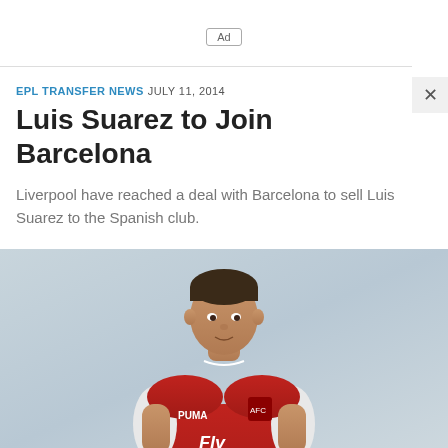Ad
EPL TRANSFER NEWS  JULY 11, 2014
Luis Suarez to Join Barcelona
Liverpool have reached a deal with Barcelona to sell Luis Suarez to the Spanish club.
[Figure (photo): A footballer in a red Arsenal Puma kit with 'Fly' sponsor visible, posing against a light grey background, upper body and torso visible.]